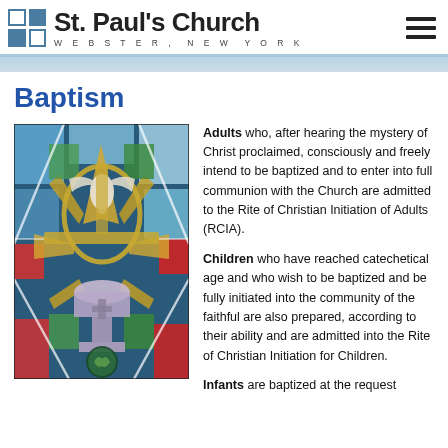St. Paul's Church — Webster, New York
Baptism
[Figure (photo): Stained glass window depicting a baptismal font with a dove and cross motifs in blue, red, yellow, and green glass]
Adults who, after hearing the mystery of Christ proclaimed, consciously and freely intend to be baptized and to enter into full communion with the Church are admitted to the Rite of Christian Initiation of Adults (RCIA).
Children who have reached catechetical age and who wish to be baptized and be fully initiated into the community of the faithful are also prepared, according to their ability and are admitted into the Rite of Christian Initiation for Children.
Infants are baptized at the request